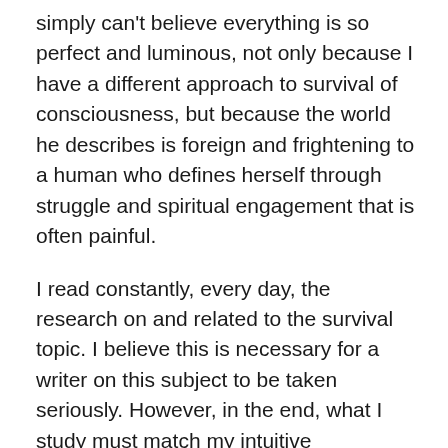simply can't believe everything is so perfect and luminous, not only because I have a different approach to survival of consciousness, but because the world he describes is foreign and frightening to a human who defines herself through struggle and spiritual engagement that is often painful.
I read constantly, every day, the research on and related to the survival topic. I believe this is necessary for a writer on this subject to be taken seriously. However, in the end, what I study must match my intuitive experience of life and consciousness for it to become incorporated into my understanding of how life works. I have rejected the theory that consciousness is a result of brain processes not only because no one has proven it to be true, but because it doesn't match my experience of conscious awareness and memory.